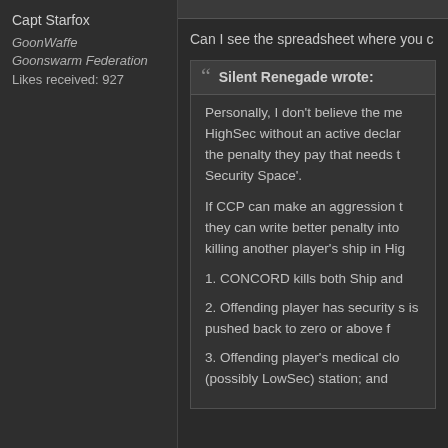Capt Starfox
GoonWaffe
Goonswarm Federation
Likes received: 927
Can I see the spreadsheet where you c
Silent Renegade wrote:
Personally, I don't believe the me HighSec without an active declar the penalty they pay that needs t Security Space'.
If CCP can make an aggression t they can write better penalty into killing another player's ship in Hig
1. CONCORD kills both Ship and
2. Offending player has security s is pushed back to zero or above f
3. Offending player's medical clo (possibly LowSec) station; and